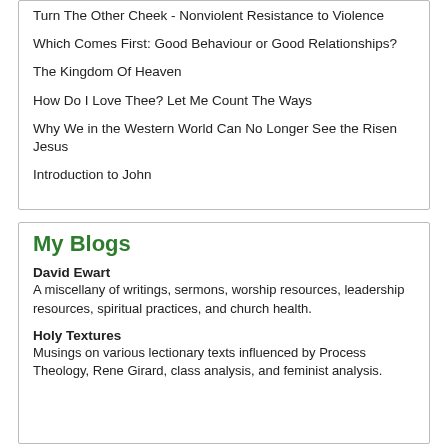Turn The Other Cheek - Nonviolent Resistance to Violence
Which Comes First: Good Behaviour or Good Relationships?
The Kingdom Of Heaven
How Do I Love Thee? Let Me Count The Ways
Why We in the Western World Can No Longer See the Risen Jesus
Introduction to John
My Blogs
David Ewart
A miscellany of writings, sermons, worship resources, leadership resources, spiritual practices, and church health.
Holy Textures
Musings on various lectionary texts influenced by Process Theology, Rene Girard, class analysis, and feminist analysis.